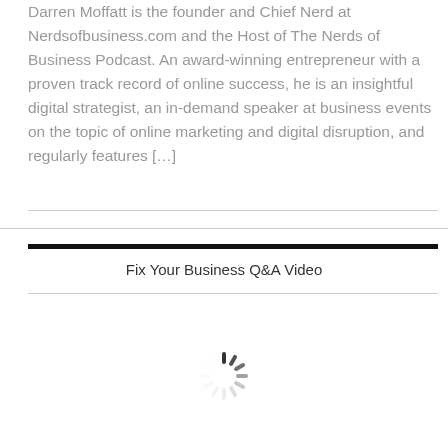Darren Moffatt is the founder and Chief Nerd at Nerdsofbusiness.com and the Host of The Nerds of Business Podcast. An award-winning entrepreneur with a proven track record of online success, he is an insightful digital strategist, an in-demand speaker at business events on the topic of online marketing and digital disruption, and regularly features […]
Fix Your Business Q&A Video
[Figure (other): Loading spinner / animated loading indicator]